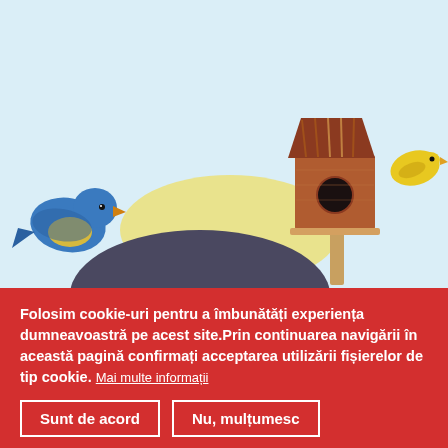[Figure (illustration): Children's book cover illustration showing a birdhouse on a tree with a blue bird on the left and a yellow bird on the right, against a light blue sky with yellow highlights. Text reads 'Căsuța din copac']
Folosim cookie-uri pentru a îmbunătăți experiența dumneavoastră pe acest site.Prin continuarea navigării în această pagină confirmați acceptarea utilizării fișierelor de tip cookie. Mai multe informații
Sunt de acord
Nu, mulțumesc